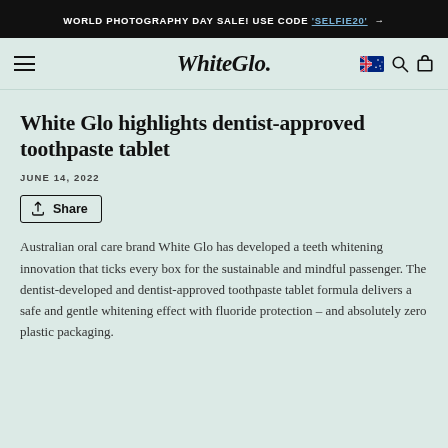WORLD PHOTOGRAPHY DAY SALE! USE CODE 'SELFIE20' →
[Figure (logo): WhiteGlo logo with hamburger menu, Australian flag, search and cart icons in navigation bar]
White Glo highlights dentist-approved toothpaste tablet
JUNE 14, 2022
Share
Australian oral care brand White Glo has developed a teeth whitening innovation that ticks every box for the sustainable and mindful passenger. The dentist-developed and dentist-approved toothpaste tablet formula delivers a safe and gentle whitening effect with fluoride protection – and absolutely zero plastic packaging.